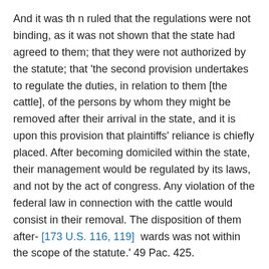And it was th n ruled that the regulations were not binding, as it was not shown that the state had agreed to them; that they were not authorized by the statute; that 'the second provision undertakes to regulate the duties, in relation to them [the cattle], of the persons by whom they might be removed after their arrival in the state, and it is upon this provision that plaintiffs' reliance is chiefly placed. After becoming domiciled within the state, their management would be regulated by its laws, and not by the act of congress. Any violation of the federal law in connection with the cattle would consist in their removal. The disposition of them after- [173 U.S. 116, 119] wards was not within the scope of the statute.' 49 Pac. 425.
T. B. Stuart and W. C. Kingsley, for plaintiffs in error.
C. S. Thomas and W. H. Bryant, for defendant in error.
Mr. Chief Justice FULLER, after stating the facts in the